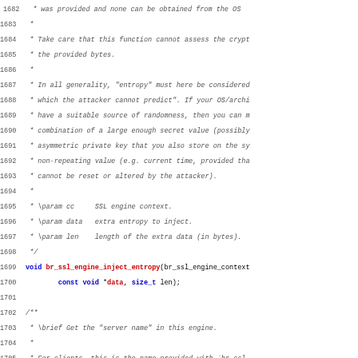Source code listing with line numbers 1682-1714, showing C documentation comments and function declarations for br_ssl_engine_inject_entropy and br_ssl_engine_get_server_name